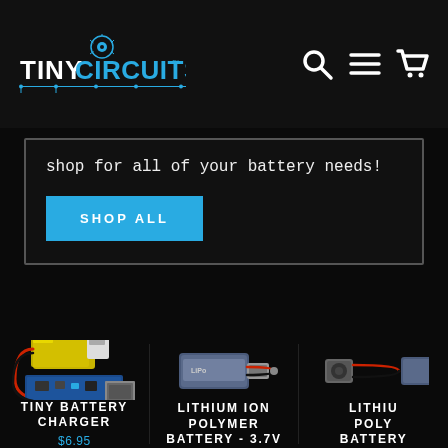TinyCircuits - navigation header with logo, search, menu, and cart icons
shop for all of your battery needs!
SHOP ALL
[Figure (photo): Tiny Battery Charger product photo - small PCB with battery and USB connector]
TINY BATTERY CHARGER
$6.95
[Figure (photo): Lithium Ion Polymer Battery product photo - small LiPo battery with red/black wires]
LITHIUM ION POLYMER BATTERY - 3.7V
[Figure (photo): Lithium Ion Polymer Battery (second) product photo - small LiPo battery with wires]
LITHIU POLY BATTERY